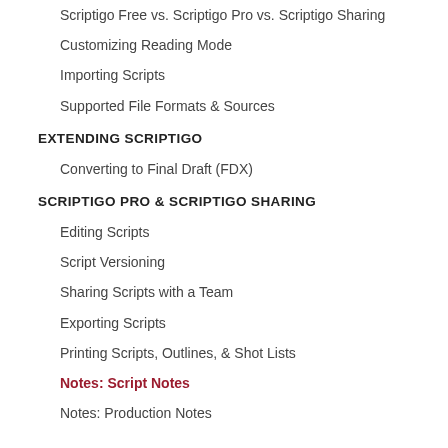Scriptigo Free vs. Scriptigo Pro vs. Scriptigo Sharing
Customizing Reading Mode
Importing Scripts
Supported File Formats & Sources
EXTENDING SCRIPTIGO
Converting to Final Draft (FDX)
SCRIPTIGO PRO & SCRIPTIGO SHARING
Editing Scripts
Script Versioning
Sharing Scripts with a Team
Exporting Scripts
Printing Scripts, Outlines, & Shot Lists
Notes: Script Notes
Notes: Production Notes